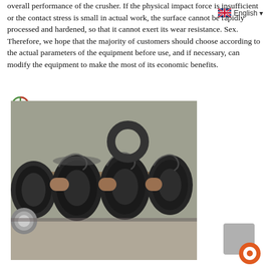overall performance of the crusher. If the physical impact force is insufficient or the contact stress is small in actual work, the surface cannot be rapidly processed and hardened, so that it cannot exert its wear resistance. Sex. Therefore, we hope that the majority of customers should choose according to the actual parameters of the equipment before use, and if necessary, can modify the equipment to make the most of its economic benefits.
[Figure (photo): Photo of a heavy industrial crankshaft or crusher rotor with multiple discs and cylindrical journals, placed on a workshop floor. The metal parts show heavy wear and rough casting texture.]